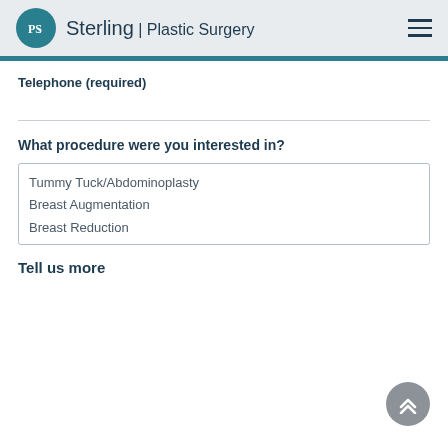Sterling | Plastic Surgery
Telephone (required)
What procedure were you interested in?
Tummy Tuck/Abdominoplasty
Breast Augmentation
Breast Reduction
Mastopexy
Body lift
Tell us more